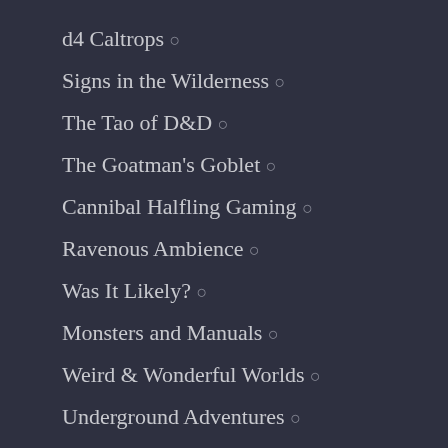d4 Caltrops ○
Signs in the Wilderness ○
The Tao of D&D ○
The Goatman's Goblet ○
Cannibal Halfling Gaming ○
Ravenous Ambience ○
Was It Likely? ○
Monsters and Manuals ○
Weird & Wonderful Worlds ○
Underground Adventures ○
Two Goblins in a Trenchcoat ○
Papers & Pencils ○
A Knight at the Opera ○
Pretendo ○